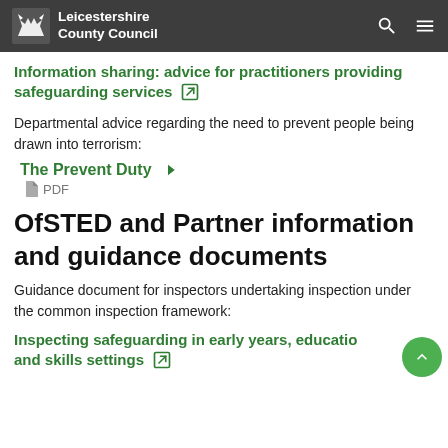Leicestershire County Council
Information sharing: advice for practitioners providing safeguarding services
Departmental advice regarding the need to prevent people being drawn into terrorism:
The Prevent Duty PDF
OfSTED and Partner information and guidance documents
Guidance document for inspectors undertaking inspection under the common inspection framework:
Inspecting safeguarding in early years, education and skills settings